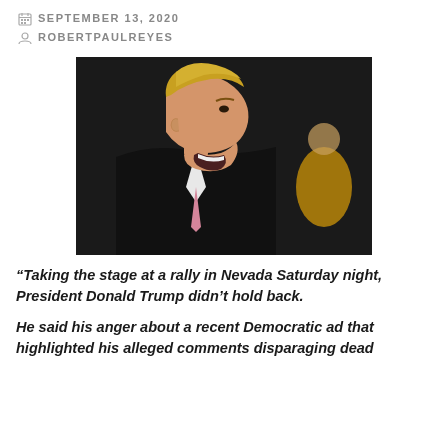SEPTEMBER 13, 2020
ROBERTPAULREYES
[Figure (photo): Profile photo of a man with blonde hair shouting, wearing a dark suit and pink tie, photographed against a dark background with a person in gold in the background.]
“Taking the stage at a rally in Nevada Saturday night, President Donald Trump didn’t hold back.

He said his anger about a recent Democratic ad that highlighted his alleged comments disparaging dead